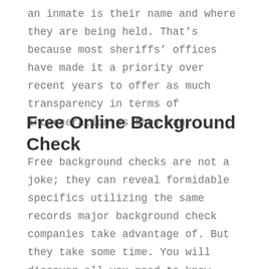an inmate is their name and where they are being held. That's because most sheriffs' offices have made it a priority over recent years to offer as much transparency in terms of incarceration as they can.
Free Online Background Check
Free background checks are not a joke; they can reveal formidable specifics utilizing the same records major background check companies take advantage of. But they take some time. You will discover all you need to know about another person through the use of social networking websites, Minneapolis public records websites, and search